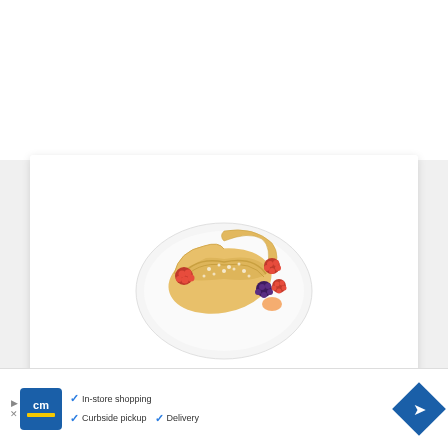[Figure (photo): A croissant dusted with powdered sugar served on a white plate with mixed berries (raspberries, blackberries, melon pieces)]
PRINT RECIPE
[Figure (infographic): Advertisement banner with CM logo, checkmarks for In-store shopping, Curbside pickup, and Delivery options, navigation icon, and play button]